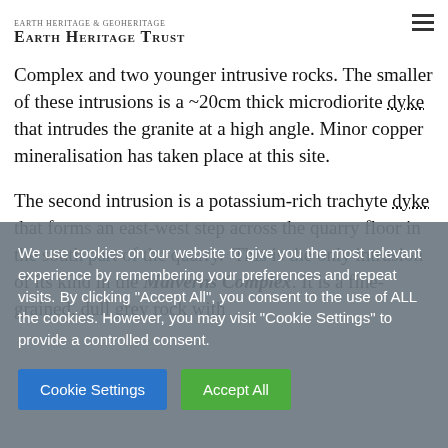Earth Heritage Trust
separated from the granite by a fault zone. Exposed in the quarry are the contacts between the Malverns Complex and two younger intrusive rocks. The smaller of these intrusions is a ~20cm thick microdiorite dyke that intrudes the granite at a high angle. Minor copper mineralisation has taken place at this site.
The second intrusion is a potassium-rich trachyte dyke that forms an east-west step across the quarry floor in the south part of the quarry. This is the only intrusion of its kind in the Malverns Complex. It is a fine-grained, dull grey rock with
We use cookies on our website to give you the most relevant experience by remembering your preferences and repeat visits. By clicking "Accept All", you consent to the use of ALL the cookies. However, you may visit "Cookie Settings" to provide a controlled consent.